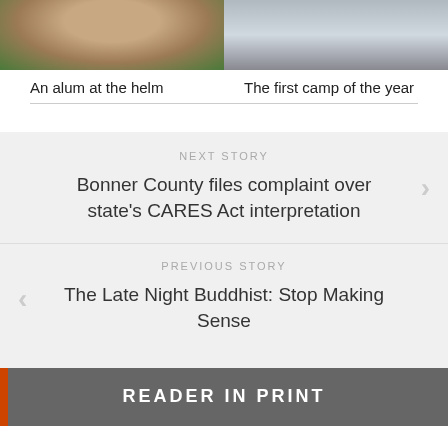[Figure (photo): Two side-by-side photos: left shows a man smiling with green foliage behind him; right shows a snowy outdoor scene.]
An alum at the helm
The first camp of the year
NEXT STORY
Bonner County files complaint over state's CARES Act interpretation
PREVIOUS STORY
The Late Night Buddhist: Stop Making Sense
READER IN PRINT